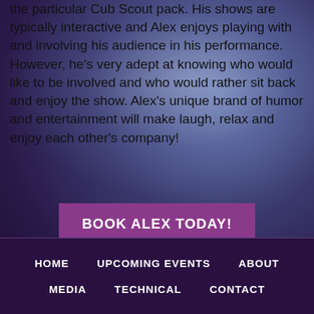the particular Cub Scout pack. His shows are typically interactive and Alex enjoys playing with and involving his audience in his performance. However, he's very adept at knowing who would like to be involved and who would rather sit back and enjoy the show. Alex's unique brand of humor and entertainment will make laugh, relax and enjoy each other's company!
BOOK ALEX TODAY!
HOME   UPCOMING EVENTS   ABOUT   MEDIA   TECHNICAL   CONTACT